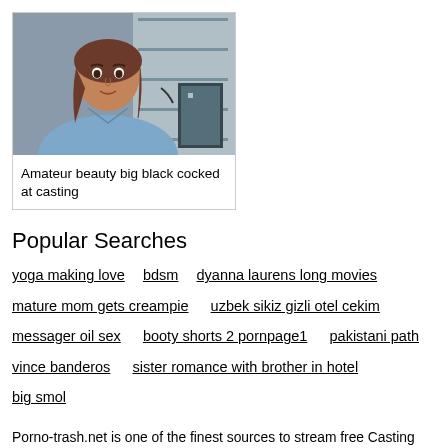[Figure (photo): Thumbnail card showing a young woman in a denim shirt in what appears to be a storage/warehouse room with shelves and equipment. Card has a light border.]
Amateur beauty big black cocked at casting
Popular Searches
yoga making love
bdsm
dyanna laurens long movies
mature mom gets creampie
uzbek sikiz gizli otel cekim
messager oil sex
booty shorts 2 pornpage1
pakistani path
vince banderos
sister romance with brother in hotel
big smol
Porno-trash.net is one of the finest sources to stream free Casting Beauty Subtitle sex videos. A place packed with thousands of top-quality Casting young beautiful pussy fuck videos that are streamable for free! Explore porno-trash.net in